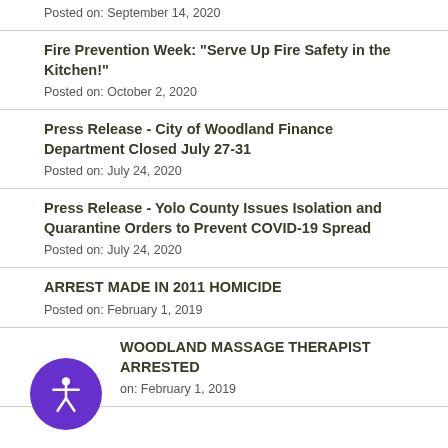Posted on: September 14, 2020
Fire Prevention Week: "Serve Up Fire Safety in the Kitchen!"
Posted on: October 2, 2020
Press Release - City of Woodland Finance Department Closed July 27-31
Posted on: July 24, 2020
Press Release - Yolo County Issues Isolation and Quarantine Orders to Prevent COVID-19 Spread
Posted on: July 24, 2020
ARREST MADE IN 2011 HOMICIDE
Posted on: February 1, 2019
WOODLAND MASSAGE THERAPIST ARRESTED
Posted on: February 1, 2019
[Figure (other): Purple accessibility icon button (PageAssist)]